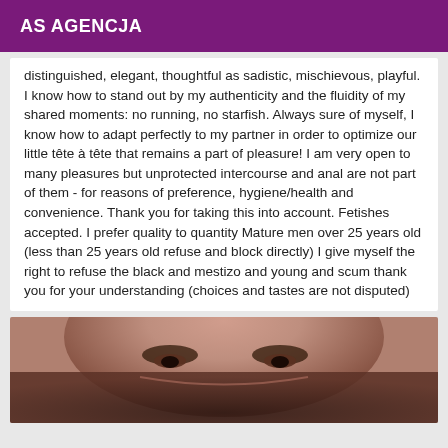AS AGENCJA
distinguished, elegant, thoughtful as sadistic, mischievous, playful. I know how to stand out by my authenticity and the fluidity of my shared moments: no running, no starfish. Always sure of myself, I know how to adapt perfectly to my partner in order to optimize our little tête à tête that remains a part of pleasure! I am very open to many pleasures but unprotected intercourse and anal are not part of them - for reasons of preference, hygiene/health and convenience. Thank you for taking this into account. Fetishes accepted. I prefer quality to quantity Mature men over 25 years old (less than 25 years old refuse and block directly) I give myself the right to refuse the black and mestizo and young and scum thank you for your understanding (choices and tastes are not disputed)
[Figure (photo): Close-up photo of a person's face, partial view showing eyes and nose area]